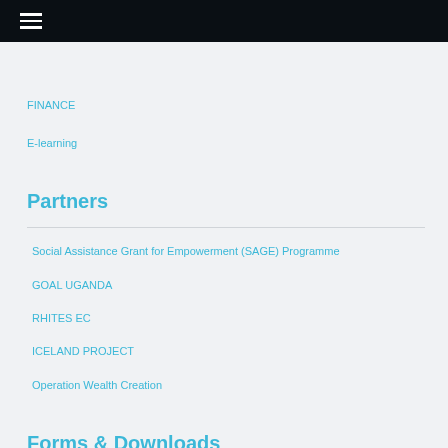☰
FINANCE
E-learning
Partners
Social Assistance Grant for Empowerment (SAGE) Programme
GOAL UGANDA
RHITES EC
ICELAND PROJECT
Operation Wealth Creation
Forms & Downloads